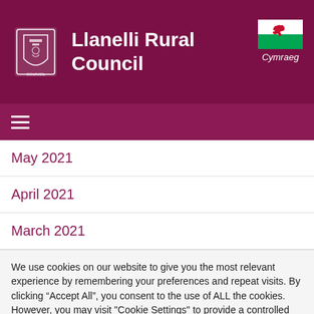Llanelli Rural Council
May 2021
April 2021
March 2021
We use cookies on our website to give you the most relevant experience by remembering your preferences and repeat visits. By clicking “Accept All”, you consent to the use of ALL the cookies. However, you may visit "Cookie Settings" to provide a controlled consent.